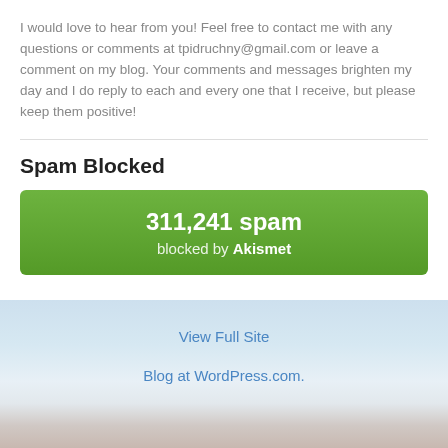I would love to hear from you! Feel free to contact me with any questions or comments at tpidruchny@gmail.com or leave a comment on my blog. Your comments and messages brighten my day and I do reply to each and every one that I receive, but please keep them positive!
Spam Blocked
[Figure (infographic): Green Akismet spam blocked badge showing 311,241 spam blocked by Akismet]
View Full Site
Blog at WordPress.com.